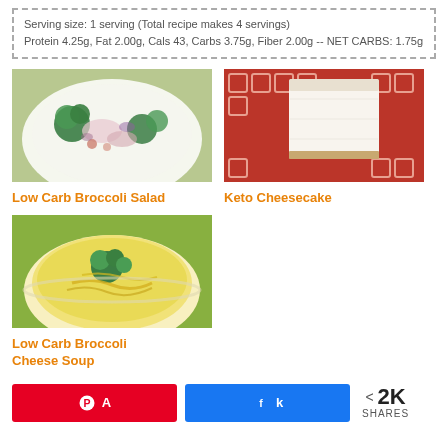Serving size: 1 serving (Total recipe makes 4 servings)
Protein 4.25g, Fat 2.00g, Cals 43, Carbs 3.75g, Fiber 2.00g -- NET CARBS: 1.75g
[Figure (photo): Bowl of broccoli salad with mixed vegetables and creamy dressing]
Low Carb Broccoli Salad
[Figure (photo): Slice of keto cheesecake on a red patterned plate]
Keto Cheesecake
[Figure (photo): Bowl of low carb broccoli cheese soup with shredded cheese and broccoli florets]
Low Carb Broccoli Cheese Soup
A 2K SHARES